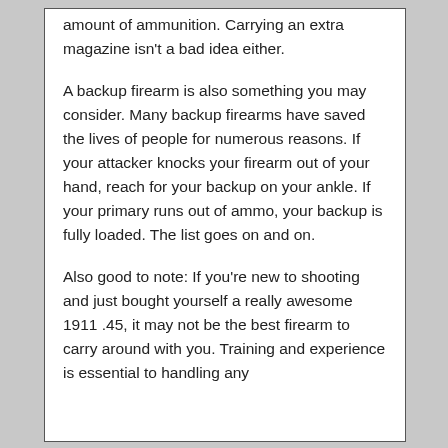amount of ammunition. Carrying an extra magazine isn't a bad idea either.
A backup firearm is also something you may consider. Many backup firearms have saved the lives of people for numerous reasons. If your attacker knocks your firearm out of your hand, reach for your backup on your ankle. If your primary runs out of ammo, your backup is fully loaded. The list goes on and on.
Also good to note: If you're new to shooting and just bought yourself a really awesome 1911 .45, it may not be the best firearm to carry around with you. Training and experience is essential to handling any